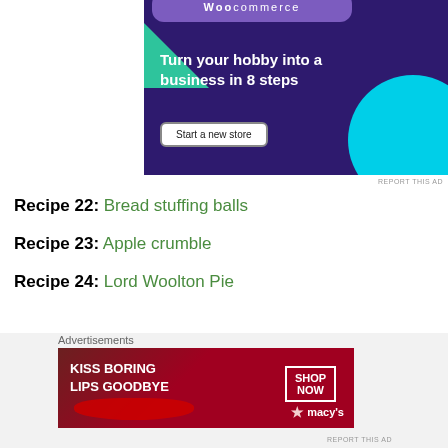[Figure (illustration): WooCommerce advertisement banner: dark purple background with cyan circle, green triangle shape, speech bubble with WooCommerce branding, bold white text 'Turn your hobby into a business in 8 steps', and a white 'Start a new store' button.]
REPORT THIS AD
Recipe 22: Bread stuffing balls
Recipe 23: Apple crumble
Recipe 24: Lord Woolton Pie
Advertisements
[Figure (illustration): Macy's lipstick advertisement: dark red background with woman's face showing red lips, bold white text 'KISS BORING LIPS GOODBYE', white bordered 'SHOP NOW' box, and Macy's star logo.]